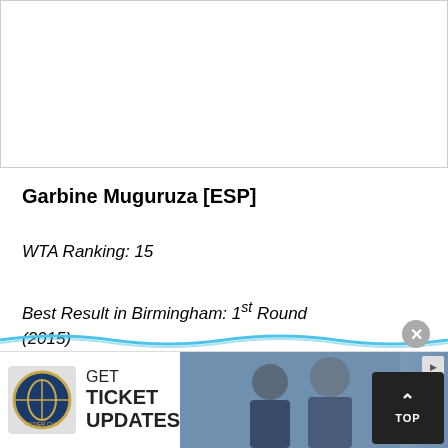[Figure (photo): Photo placeholder area at top of page, mostly white/blank]
Garbine Muguruza [ESP]
WTA Ranking: 15
Best Result in Birmingham: 1st Round (2015)
2016 Grass Record: 1-2
It's unusual to see Garbine Muguruza ranked No.15 in the world, but this year she has been unable to recapture the form that propelled her to the Roland Garros title in 2016.
[Figure (photo): Ryder Cup advertisement banner at bottom with logo and photo of golfers]